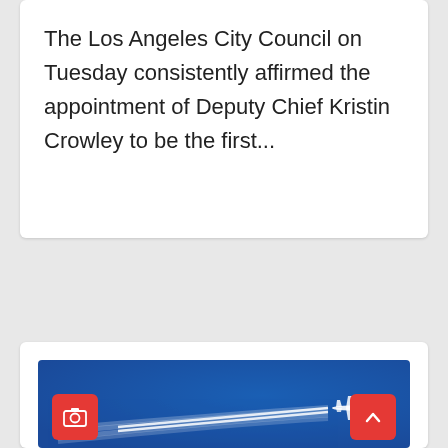The Los Angeles City Council on Tuesday consistently affirmed the appointment of Deputy Chief Kristin Crowley to be the first...
[Figure (photo): Aerial photograph of a commercial airplane flying at high altitude against a clear blue sky, leaving two white contrails behind it.]